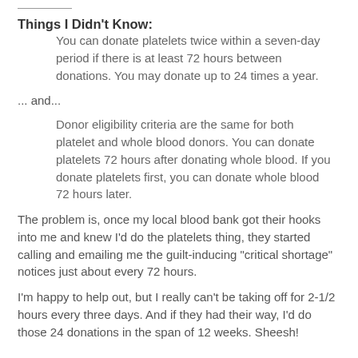Things I Didn't Know:
You can donate platelets twice within a seven-day period if there is at least 72 hours between donations. You may donate up to 24 times a year.
... and...
Donor eligibility criteria are the same for both platelet and whole blood donors. You can donate platelets 72 hours after donating whole blood. If you donate platelets first, you can donate whole blood 72 hours later.
The problem is, once my local blood bank got their hooks into me and knew I'd do the platelets thing, they started calling and emailing me the guilt-inducing "critical shortage" notices just about every 72 hours.
I'm happy to help out, but I really can't be taking off for 2-1/2 hours every three days. And if they had their way, I'd do those 24 donations in the span of 12 weeks. Sheesh!